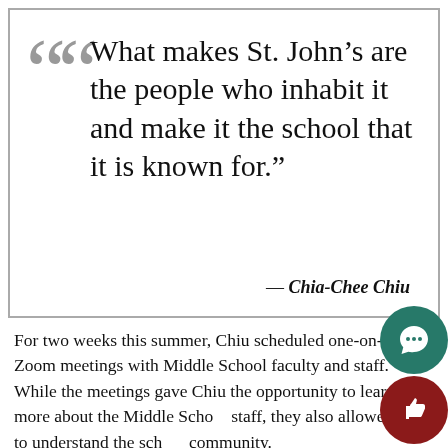“What makes St. John’s are the people who inhabit it and make it the school that it is known for.”
— Chia-Chee Chiu
For two weeks this summer, Chiu scheduled one-on-one Zoom meetings with Middle School faculty and staff. While the meetings gave Chiu the opportunity to learn more about the Middle School staff, they also allowed her to understand the school community.
“What I found through that experience is that wha…